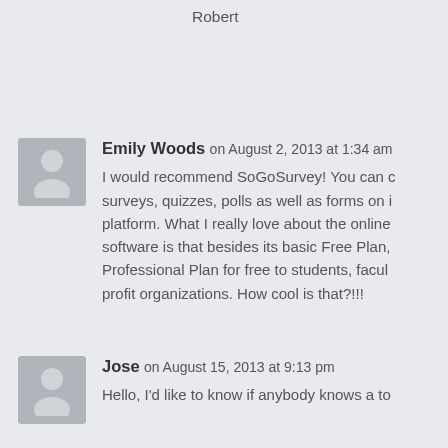Robert
Emily Woods on August 2, 2013 at 1:34 am
I would recommend SoGoSurvey! You can create surveys, quizzes, polls as well as forms on its platform. What I really love about the online software is that besides its basic Free Plan, Professional Plan for free to students, faculty, non-profit organizations. How cool is that?!!!
Jose on August 15, 2013 at 9:13 pm
Hello, I'd like to know if anybody knows a to